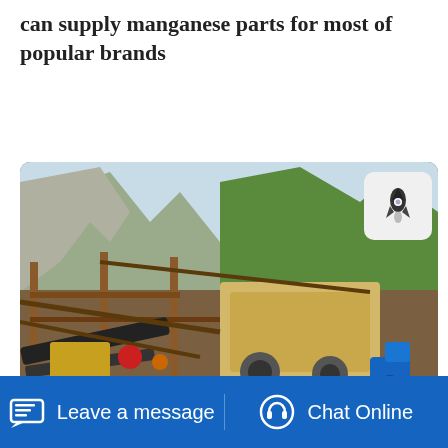can supply manganese parts for most of popular brands
Read More
[Figure (photo): Outdoor mining/crushing plant equipment with conveyor belts and crushers set against a mountainous green landscape background.]
Leave a message
Chat Online